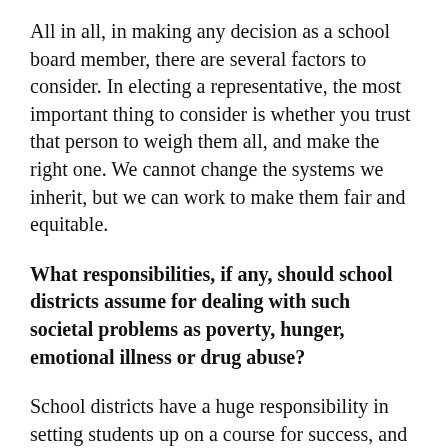All in all, in making any decision as a school board member, there are several factors to consider. In electing a representative, the most important thing to consider is whether you trust that person to weigh them all, and make the right one. We cannot change the systems we inherit, but we can work to make them fair and equitable.
What responsibilities, if any, should school districts assume for dealing with such societal problems as poverty, hunger, emotional illness or drug abuse?
School districts have a huge responsibility in setting students up on a course for success, and sometimes that means addressing social ills and issues that they did not create. The community schools model is one that allows for a holistic approach to education, and